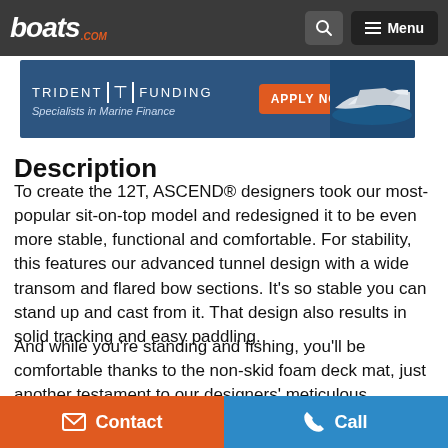boats.com | Menu
[Figure (infographic): Trident Funding advertisement banner with logo, 'APPLY NOW' button, and a boat image. Text: 'TRIDENT FUNDING - Specialists in Marine Finance']
Description
To create the 12T, ASCEND® designers took our most-popular sit-on-top model and redesigned it to be even more stable, functional and comfortable. For stability, this features our advanced tunnel design with a wide transom and flared bow sections. It's so stable you can stand up and cast from it. That design also results in solid tracking and easy paddling.
And while you're standing and fishing, you'll be comfortable thanks to the non-skid foam deck mat, just another testament to our designers' meticulous attention to features
Contact | Call